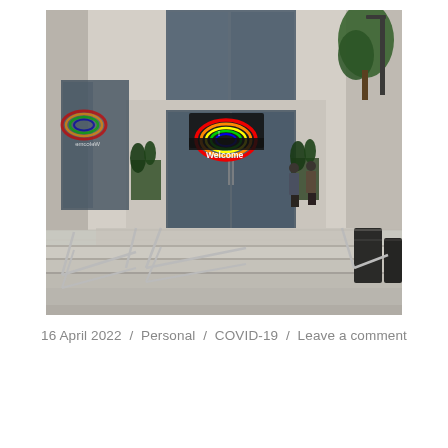[Figure (photo): Exterior entrance of an Apple Store building with glass doors displaying a rainbow 'Welcome' sign. Steps with metal railings lead up to the entrance. Green trees visible to the right. Two people standing near the entrance.]
16 April 2022  /  Personal  /  COVID-19  /  Leave a comment